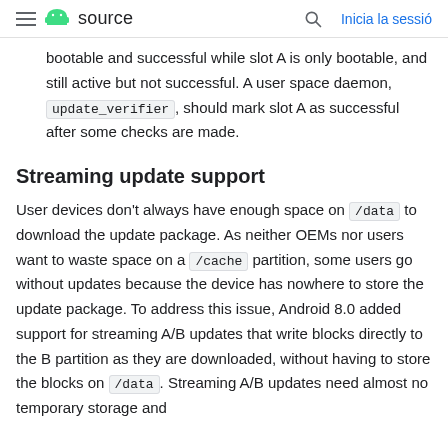≡ Android source  🔍  Inicia la sessió
bootable and successful while slot A is only bootable, and still active but not successful. A user space daemon, update_verifier, should mark slot A as successful after some checks are made.
Streaming update support
User devices don't always have enough space on /data to download the update package. As neither OEMs nor users want to waste space on a /cache partition, some users go without updates because the device has nowhere to store the update package. To address this issue, Android 8.0 added support for streaming A/B updates that write blocks directly to the B partition as they are downloaded, without having to store the blocks on /data. Streaming A/B updates need almost no temporary storage and